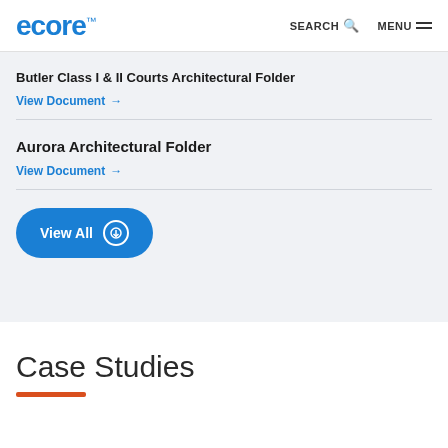ecore™  SEARCH  MENU
Butler Class I & II Courts Architectural Folder
View Document →
Aurora Architectural Folder
View Document →
View All
Case Studies